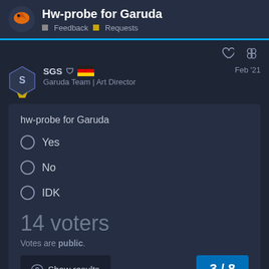Hw-probe for Garuda — Feedback | Requests
SGS — Garuda Team | Art Director — Feb '21
hw-probe for Garuda
Yes
No
IDK
14 voters
Votes are public.
Show results
3 / 8